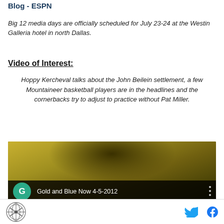Blog - ESPN
Big 12 media days are officially scheduled for July 23-24 at the Westin Galleria hotel in north Dallas.
Video of Interest:
Hoppy Kercheval talks about the John Beilein settlement, a few Mountaineer basketball players are in the headlines and the cornerbacks try to adjust to practice without Pat Miller.
[Figure (screenshot): Video thumbnail showing 'Gold and Blue Now 4-5-2012' with a green avatar circle with letter G and three-dot menu]
Footer with logo, Twitter and Facebook icons